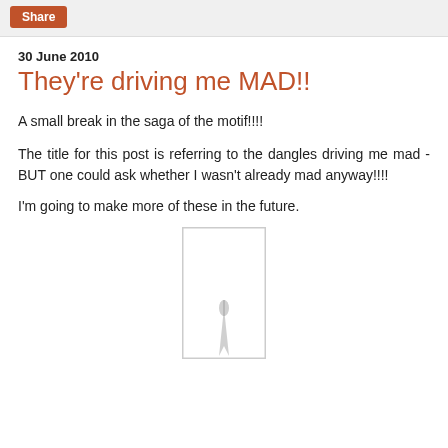Share
30 June 2010
They're driving me MAD!!
A small break in the saga of the motif!!!!
The title for this post is referring to the dangles driving me mad - BUT one could ask whether I wasn't already mad anyway!!!!
I'm going to make more of these in the future.
[Figure (photo): A tall narrow white rectangular image showing what appears to be a needle or thin pointed object at the bottom, partially visible.]